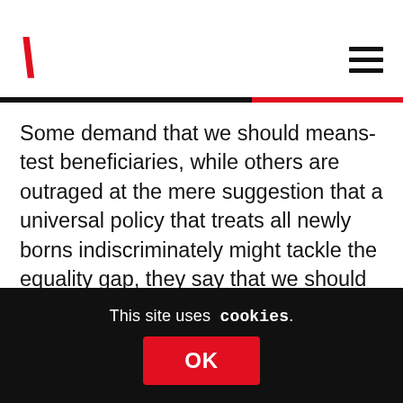\ (logo slash)
Some demand that we should means-test beneficiaries, while others are outraged at the mere suggestion that a universal policy that treats all newly borns indiscriminately might tackle the equality gap, they say that we should wrestle with education policy to do that. They doubtless have a very good point, but might I suggest that an equal footing from the moment of birth – although not a solution to the bigger issue of social
This site uses cookies. OK